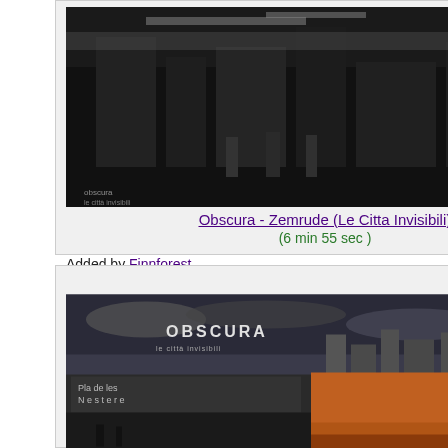[Figure (photo): Black and white album cover / video thumbnail for Obscura - Zemrude (Le Citta Invisibili), showing a dark street scene with small text 'obscura le città invisibili' at bottom left]
Obscura - Zemrude (Le Citta Invisibili)
(6 min 55 sec )
Added by Finnforest
[Figure (photo): Color collage thumbnail for Obscura-Limbo Cosmico (parte prima e seconda).wmv, showing OBSCURA album text at top, buildings/cityscape, desert landscape at bottom]
Obscura-Limbo Cosmico (parte prima e seconda).wmv
(4 min 30 sec )